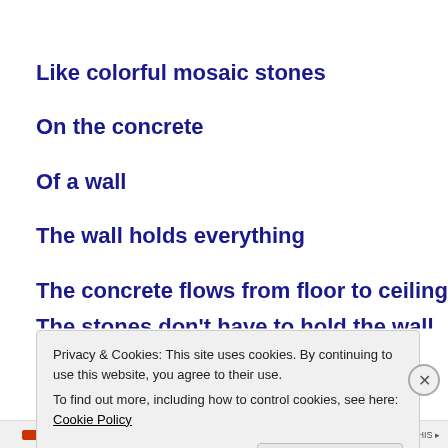Like colorful mosaic stones
On the concrete
Of a wall
The wall holds everything
The concrete flows from floor to ceiling
The stones don't have to hold the wall
Privacy & Cookies: This site uses cookies. By continuing to use this website, you agree to their use. To find out more, including how to control cookies, see here: Cookie Policy
Close and accept